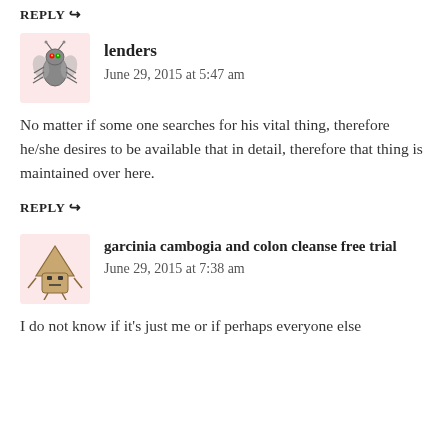REPLY ↪
lenders
June 29, 2015 at 5:47 am
No matter if some one searches for his vital thing, therefore he/she desires to be available that in detail, therefore that thing is maintained over here.
REPLY ↪
garcinia cambogia and colon cleanse free trial
June 29, 2015 at 7:38 am
I do not know if it's just me or if perhaps everyone else